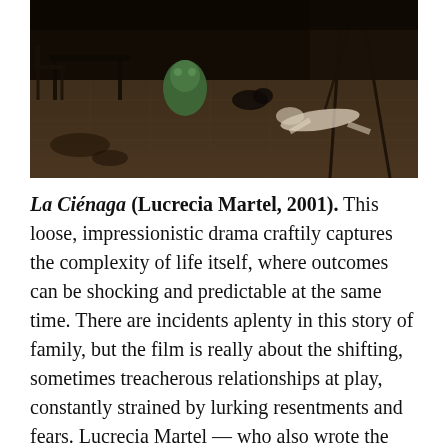[Figure (photo): A dark indoor scene showing a tiled floor, scattered chairs and objects, a green ceramic or stuffed animal figure visible, and a person lying on the floor in the background near a window with light coming through. Still from the film La Ciénaga.]
La Ciénaga (Lucrecia Martel, 2001). This loose, impressionistic drama craftily captures the complexity of life itself, where outcomes can be shocking and predictable at the same time. There are incidents aplenty in this story of family, but the film is really about the shifting, sometimes treacherous relationships at play, constantly strained by lurking resentments and fears. Lucrecia Martel — who also wrote the screenplay — favors quietly telling images in her directing and highlights the probing insights of the actor's performances. There's a mordant comedy at play, always conveyed with subtlety and prevailing kindness, even as the film addresses social and cultural prejudice at play in the swath of Argentinian society it depicts. La